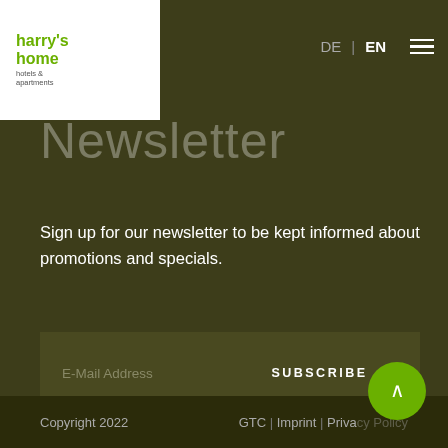harry's home hotels & apartments | DE | EN
Newsletter
Sign up for our newsletter to be kept informed about promotions and specials.
E-Mail Address  SUBSCRIBE →
I have read the privacy policy and I agree to it.
Copyright 2022  GTC | Imprint | Privacy Policy